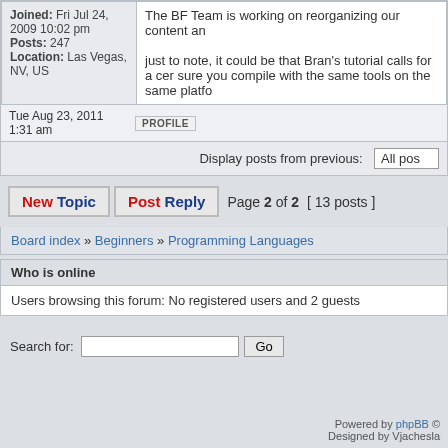Joined: Fri Jul 24, 2009 10:02 pm
Posts: 247
Location: Las Vegas, NV, US
The BF Team is working on reorganizing our content an

just to note, it could be that Bran's tutorial calls for a cer sure you compile with the same tools on the same platfo
Tue Aug 23, 2011 1:31 am
PROFILE
Display posts from previous:  All pos
New Topic  Post Reply  Page 2 of 2  [ 13 posts ]
Board index » Beginners » Programming Languages
Who is online
Users browsing this forum: No registered users and 2 guests
Search for:
Powered by phpBB ©
Designed by Vjachesla